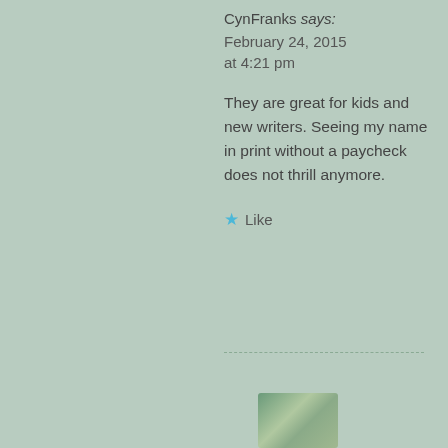CynFranks says: February 24, 2015 at 4:21 pm
They are great for kids and new writers. Seeing my name in print without a paycheck does not thrill anymore.
★ Like
[Figure (photo): Small avatar/profile photo thumbnail at the bottom of the comment]